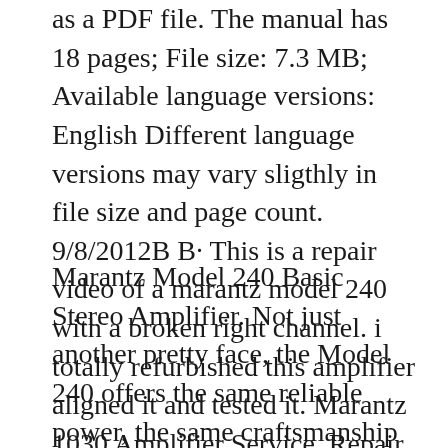as a PDF file. The manual has 18 pages; File size: 7.3 MB; Available language versions: English Different language versions may vary sligthly in file size and page count. 9/8/2012B B· This is a repair video of a marantz model 240 with a broken right channel. i totally refurbished this amplifier aligned it and tested it. Marantz 1030 Amplifier Service, Repair, and Bias BG007
Marantz Model 240 Basic Stereo Amplifier. Not just another pretty face, the Model 240 offers the same reliable power, the same craftsmanship and endurance as the Marantz 250. what it doesn't offer is the two front panel meters. With this model you get all the same high-performance features - but you don't get the meters to tell you about them. Manual